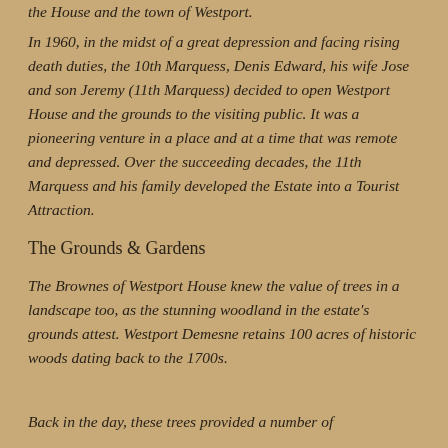the House and the town of Westport.
In 1960, in the midst of a great depression and facing rising death duties, the 10th Marquess, Denis Edward, his wife Jose and son Jeremy (11th Marquess) decided to open Westport House and the grounds to the visiting public. It was a pioneering venture in a place and at a time that was remote and depressed. Over the succeeding decades, the 11th Marquess and his family developed the Estate into a Tourist Attraction.
The Grounds & Gardens
The Brownes of Westport House knew the value of trees in a landscape too, as the stunning woodland in the estate's grounds attest. Westport Demesne retains 100 acres of historic woods dating back to the 1700s.
Back in the day, these trees provided a number of